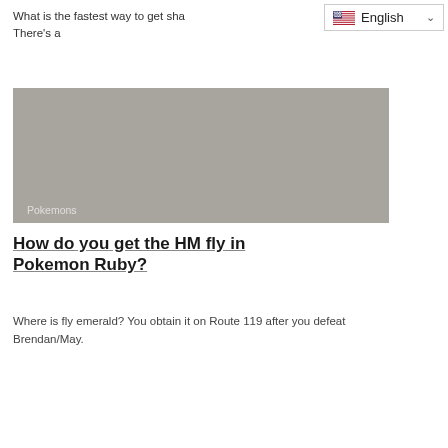What is the fastest way to get sha
There's a
[Figure (screenshot): Gray placeholder image block with 'Pokemons' label in bottom-left]
How do you get the HM fly in Pokemon Ruby?
Where is fly emerald? You obtain it on Route 119 after you defeat Brendan/May.